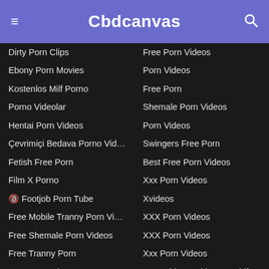Cbdcanvas
Dirty Porn Clips
Ebony Porn Movies
Kostenlos Milf Porno
Porno Videolar
Hentai Porn Videos
Çevrimiçi Bedava Porno Video...
Fetish Free Porn
Film X Porno
🔞 Footjob Porn Tube
Free Mobile Tranny Porn Videos
Free Shemale Porn Videos
Free Tranny Porn
Gay Porn Tube
Gay Porn
Gay Porn Videos
Gay Porn Videos
Gay Porn
Gay Porn Twink
Girlfriend Porn Hd
Group Free Porn Videos
Free Porn Videos
Porn Videos
Free Porn
Shemale Porn Videos
Porn Videos
Swingers Free Porn
Best Free Porn Videos
Xxx Porn Videos
Xvideos
XXX Porn Videos
XXX Porn Videos
Xxx Porn Videos
Porn Videos With Your Girlfrie...
Young Porn Tubes
Porn Videos
Porn Videos
Pissing Porn Videos
Porn Videos
Free Porn Videos
Panty Free Porn